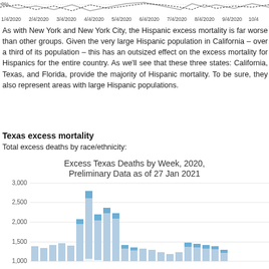[Figure (continuous-plot): Partial top strip showing line chart of excess mortality percentage over time from 1/4/2020 to 10/4/2020, with wavy solid and dotted lines near 0%]
As with New York and New York City, the Hispanic excess mortality is far worse than other groups. Given the very large Hispanic population in California – over a third of its population – this has an outsized effect on the excess mortality for Hispanics for the entire country. As we'll see that these three states: California, Texas, and Florida, provide the majority of Hispanic mortality. To be sure, they also represent areas with large Hispanic populations.
Texas excess mortality
Total excess deaths by race/ethnicity:
[Figure (bar-chart): Excess Texas Deaths by Week, 2020, Preliminary Data as of 27 Jan 2021]